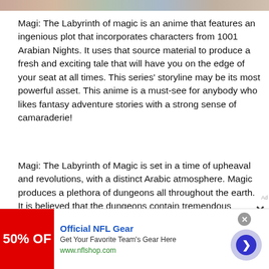[Figure (photo): Partial top strip image showing cropped photo content]
Magi: The Labyrinth of magic is an anime that features an ingenious plot that incorporates characters from 1001 Arabian Nights. It uses that source material to produce a fresh and exciting tale that will have you on the edge of your seat at all times. This series’ storyline may be its most powerful asset. This anime is a must-see for anybody who likes fantasy adventure stories with a strong sense of camaraderie!
Magi: The Labyrinth of Magic is set in a time of upheaval and revolutions, with a distinct Arabic atmosphere. Magic produces a plethora of dungeons all throughout the earth. It is believed that the dungeons contain tremendous treasures and tha... ible
[Figure (photo): Partially visible dark image overlay with nature/hair subject, partially obscured]
[Figure (infographic): Advertisement banner: Official NFL Gear - Get Your Favorite Team's Gear Here - www.nflshop.com - with red background showing '50% OFF' and a navigation arrow button]